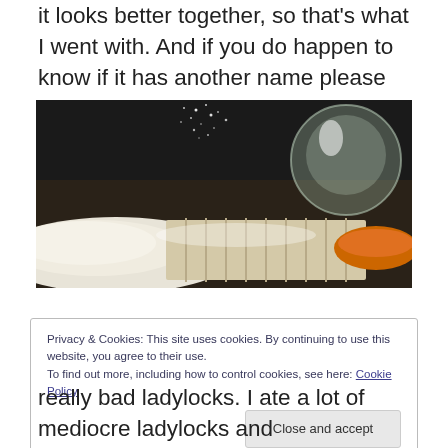it looks better together, so that's what I went with. And if you do happen to know if it has another name please feel free to share in the comments.
[Figure (photo): Close-up photo of dough or pastry being dusted with flour/powdered sugar, with a glass bowl and orange bowl visible in the background on a dark surface.]
Privacy & Cookies: This site uses cookies. By continuing to use this website, you agree to their use.
To find out more, including how to control cookies, see here: Cookie Policy
really bad ladylocks. I ate a lot of mediocre ladylocks and